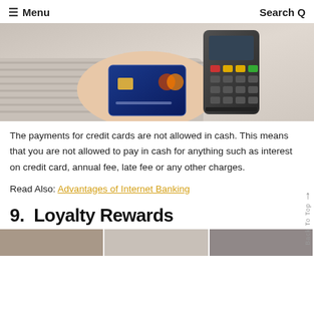≡ Menu   Search Q
[Figure (photo): Hands inserting a credit card into a payment terminal/card reader device]
The payments for credit cards are not allowed in cash. This means that you are not allowed to pay in cash for anything such as interest on credit card, annual fee, late fee or any other charges.
Read Also: Advantages of Internet Banking
9.  Loyalty Rewards
[Figure (photo): Three partial thumbnail photos at the bottom of the page]